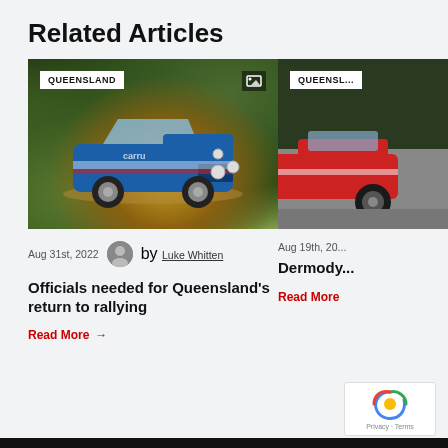Related Articles
[Figure (photo): Blue rally car driving on a dirt road surrounded by greenery and dust, with a QUEENSLAND badge and gallery icon overlay]
Aug 31st, 2022  by Luke Whitten
Officials needed for Queensland's return to rallying
Read More →
[Figure (photo): Partially visible red and white rally car on a road with trees in background, with QUEENSLAND badge overlay]
Aug 19th, 20...
Dermody...
Read More